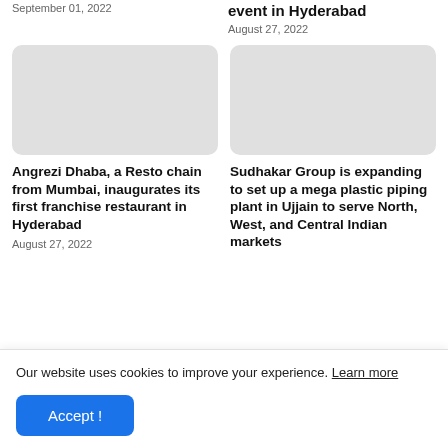September 01, 2022
event in Hyderabad
August 27, 2022
[Figure (photo): Faded photograph placeholder for Angrezi Dhaba article]
Angrezi Dhaba, a Resto chain from Mumbai, inaugurates its first franchise restaurant in Hyderabad
August 27, 2022
[Figure (photo): Light grey placeholder image for Sudhakar Group article]
Sudhakar Group is expanding to set up a mega plastic piping plant in Ujjain to serve North, West, and Central Indian markets
Our website uses cookies to improve your experience. Learn more
Accept !